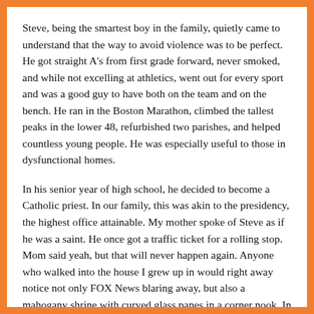Steve, being the smartest boy in the family, quietly came to understand that the way to avoid violence was to be perfect. He got straight A's from first grade forward, never smoked, and while not excelling at athletics, went out for every sport and was a good guy to have both on the team and on the bench. He ran in the Boston Marathon, climbed the tallest peaks in the lower 48, refurbished two parishes, and helped countless young people. He was especially useful to those in dysfunctional homes.
In his senior year of high school, he decided to become a Catholic priest. In our family, this was akin to the presidency, the highest office attainable. My mother spoke of Steve as if he was a saint. He once got a traffic ticket for a rolling stop. Mom said yeah, but that will never happen again. Anyone who walked into the house I grew up in would right away notice not only FOX News blaring away, but also a mahogany shrine with curved glass panes in a corner nook. In it, among other religious icons, was a